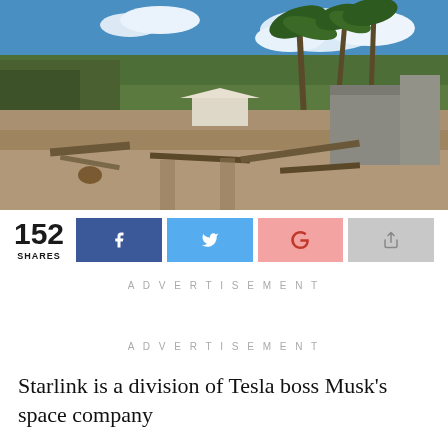[Figure (photo): Outdoor scene showing tsunami or volcanic disaster aftermath — flat sandy/ash-covered ground with debris, a white tent in the background, a concrete wall structure, and palm trees under a blue sky with clouds.]
152 SHARES
[Figure (infographic): Social share buttons row: Facebook (dark blue), Twitter (light blue), Google+ (pink), Share (gray)]
ADVERTISEMENT
ADVERTISEMENT
Starlink is a division of Tesla boss Musk’s space company